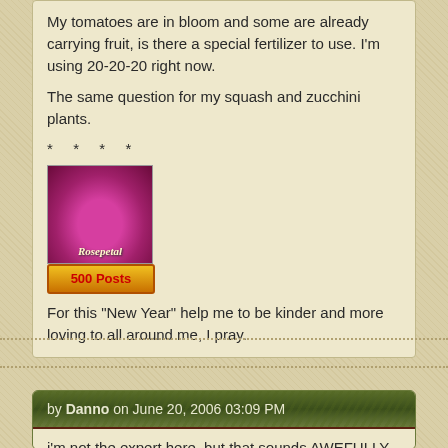My tomatoes are in bloom and some are already carrying fruit, is there a special fertilizer to use. I'm using 20-20-20 right now.
The same question for my squash and zucchini plants.
* * * *
[Figure (photo): Avatar image of a pink rose flower with 'Rosepetal' label overlay]
500 Posts
For this "New Year" help me to be kinder and more loving to all around me, I pray.
by Danno on June 20, 2006 03:09 PM
i'm not the expert here, but that sounds AWEFULLY high in